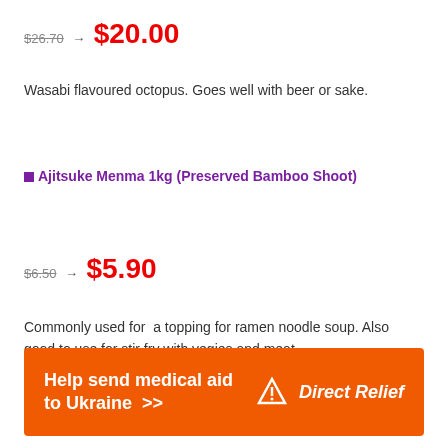$26.70 → $20.00
Wasabi flavoured octopus. Goes well with beer or sake.
■Ajitsuke Menma 1kg (Preserved Bamboo Shoot)
$6.50 → $5.90
Commonly used for  a topping for ramen noodle soup. Also good to use for stir fry with vegies and meat.
[Figure (infographic): Orange banner ad reading 'Help send medical aid to Ukraine >>' with Direct Relief logo on the right]